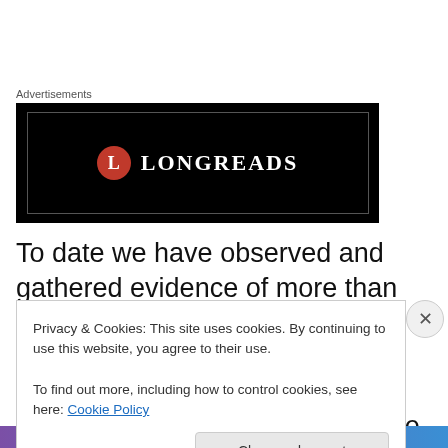Advertisements
[Figure (logo): Longreads advertisement banner: black background with red circle containing letter L and white text LONGREADS]
To date we have observed and gathered evidence of more than hundreds of “accidental” and “mistaken” surveillance targets being tortured in Victoria, by organised crime gangs, who were beneficiaries of material gathered in
Privacy & Cookies: This site uses cookies. By continuing to use this website, you agree to their use.
To find out more, including how to control cookies, see here: Cookie Policy
Close and accept